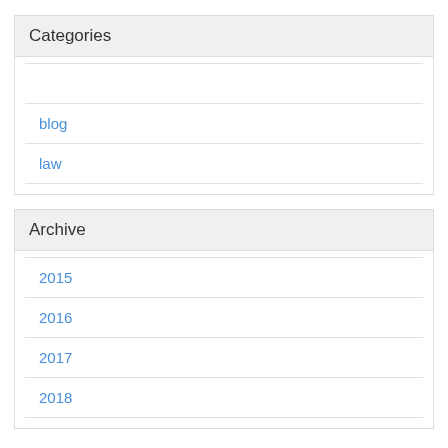Categories
blog
law
Archive
2015
2016
2017
2018